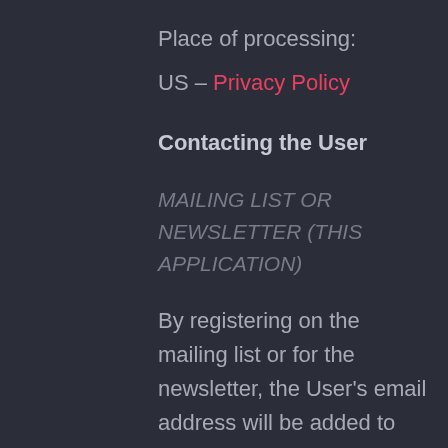Place of processing:
US – Privacy Policy
Contacting the User
MAILING LIST OR NEWSLETTER (THIS APPLICATION)
By registering on the mailing list or for the newsletter, the User's email address will be added to the contact list of those who may receive